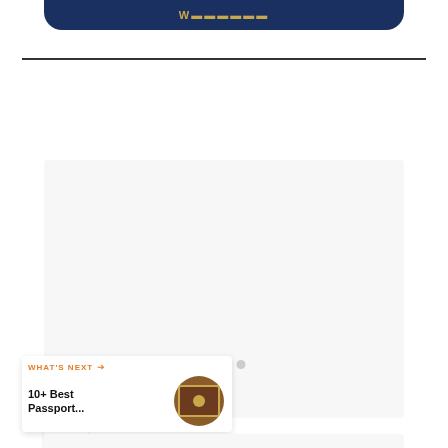[Figure (screenshot): Top navy blue banner with golden/amber bold text (partially visible, appears to be a logo or site name)]
[Figure (screenshot): Large light grey content card area with three small dots (carousel indicators) in the center. On the left side: a teal circular like/heart button, a count bubble showing '4', and a white circular share button with share icon. A 'WHAT'S NEXT' panel in the bottom-left with a thumbnail of a passport and title '10+ Best Passport...']